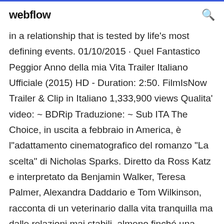webflow
in a relationship that is tested by life's most defining events. 01/10/2015 · Quel Fantastico Peggior Anno della mia Vita Trailer Italiano Ufficiale (2015) HD - Duration: 2:50. FilmIsNow Trailer & Clip in Italiano 1,333,900 views Qualita' video: ~ BDRip Traduzione: ~ Sub ITA The Choice, in uscita a febbraio in America, è l"adattamento cinematografico del romanzo "La scelta" di Nicholas Sparks. Diretto da Ross Katz e interpretato da Benjamin Walker, Teresa Palmer, Alexandra Daddario e Tom Wilkinson, racconta di un veterinario dalla vita tranquilla ma dalle relazioni mai stabili, almeno finché una vicina di casa entra Download The-Choice-2016